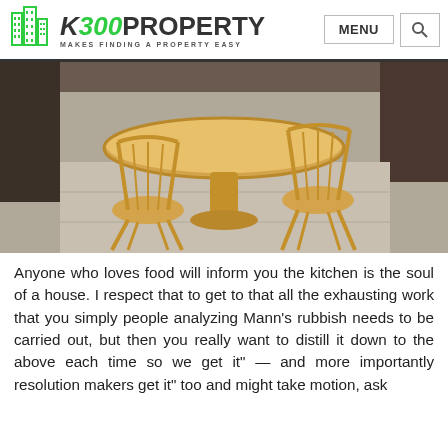K300PROPERTY — MAKES FINDING A PROPERTY EASY
[Figure (photo): Photo of a round wooden pedestal dining table with two wooden spindle-back chairs on a concrete floor.]
Anyone who loves food will inform you the kitchen is the soul of a house. I respect that to get to that all the exhausting work that you simply people analyzing Mann's rubbish needs to be carried out, but then you really want to distill it down to the above each time so we get it" — and more importantly resolution makers get it" too and might take motion, ask